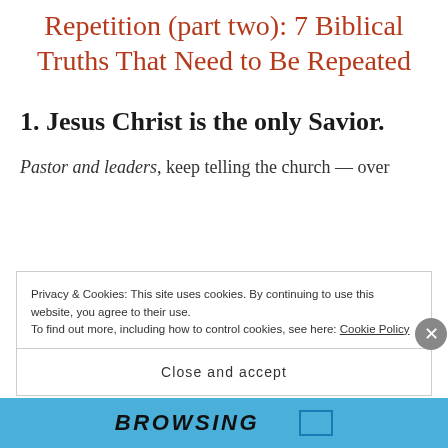Repetition (part two): 7 Biblical Truths That Need to Be Repeated
1. Jesus Christ is the only Savior.
Pastor and leaders, keep telling the church — over
Privacy & Cookies: This site uses cookies. By continuing to use this website, you agree to their use. To find out more, including how to control cookies, see here: Cookie Policy
Close and accept